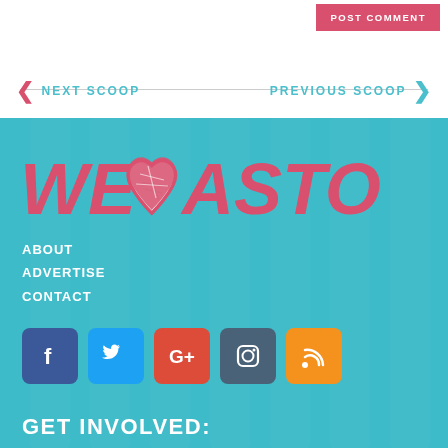POST COMMENT
NEXT SCOOP
PREVIOUS SCOOP
[Figure (logo): We Heart Astoria logo with pink italic text and a heart graphic containing a map]
ABOUT
ADVERTISE
CONTACT
[Figure (infographic): Social media icons: Facebook, Twitter, Google+, Instagram, RSS]
GET INVOLVED: